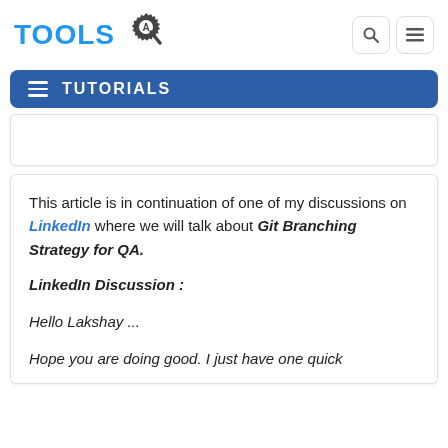TOOLS [logo with gear icon]
TUTORIALS
This article is in continuation of one of my discussions on LinkedIn where we will talk about Git Branching Strategy for QA.
LinkedIn Discussion :
Hello Lakshay ...
Hope you are doing good. I just have one quick